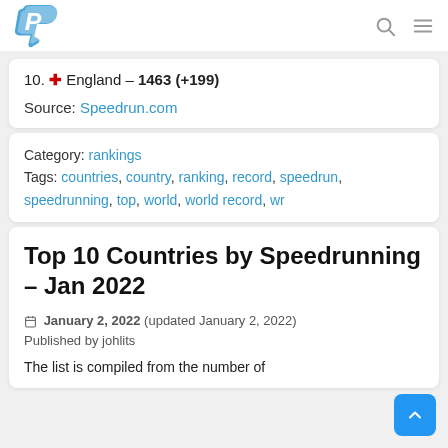P (logo) | search icon | menu icon
10. + England – 1463 (+199)
Source: Speedrun.com
Category: rankings
Tags: countries, country, ranking, record, speedrun, speedrunning, top, world, world record, wr
Top 10 Countries by Speedrunning – Jan 2022
January 2, 2022 (updated January 2, 2022)
Published by johlits
The list is compiled from the number of